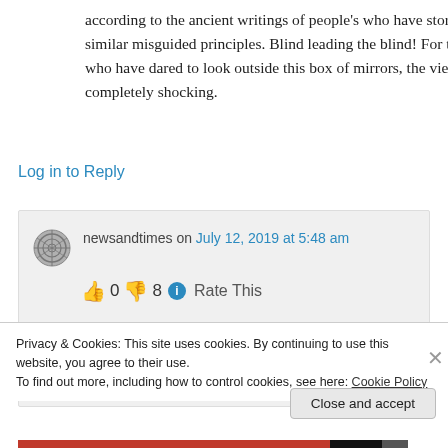according to the ancient writings of people's who have stories of similar misguided principles. Blind leading the blind! For the few who have dared to look outside this box of mirrors, the view is completely shocking.
Log in to Reply
newsandtimes on July 12, 2019 at 5:48 am
👍 0 👎 8 ℹ️ Rate This
Privacy & Cookies: This site uses cookies. By continuing to use this website, you agree to their use.
To find out more, including how to control cookies, see here: Cookie Policy
Close and accept